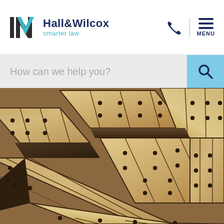[Figure (logo): Hall & Wilcox 'smarter law' logo with geometric HW monogram icon in dark navy and teal]
How can we help you?
[Figure (photo): Close-up photo of curved wooden architectural beams with metal bolt fasteners, viewed from below, showing a lattice/grid pattern of bolted timber panels]